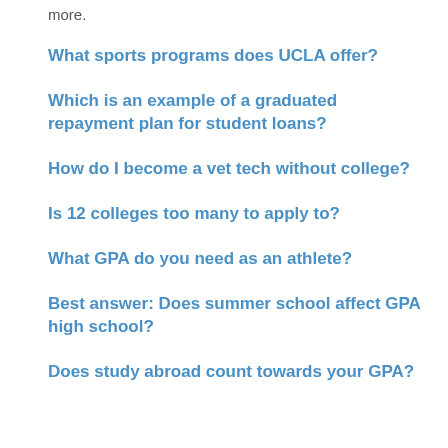more.
What sports programs does UCLA offer?
Which is an example of a graduated repayment plan for student loans?
How do I become a vet tech without college?
Is 12 colleges too many to apply to?
What GPA do you need as an athlete?
Best answer: Does summer school affect GPA high school?
Does study abroad count towards your GPA?